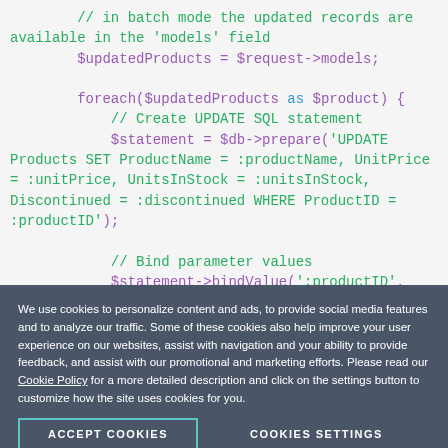// in batch mode the updated records are available in the 'models' field
        $updatedProducts = $request->models;

        foreach($updatedProducts as $product) {
            // Create UPDATE SQL statement
            $statement = $db->prepare('UPDATE Products SET ProductName = :productName, UnitPrice = :unitPrice, UnitsInStock = :unitsInStock, Discontinued = :discontinued WHERE ProductID = :productID');

            // Bind parameter values
            $statement->bindValue(':productID',
$product->ProductID);
We use cookies to personalize content and ads, to provide social media features and to analyze our traffic. Some of these cookies also help improve your user experience on our websites, assist with navigation and your ability to provide feedback, and assist with our promotional and marketing efforts. Please read our Cookie Policy for a more detailed description and click on the settings button to customize how the site uses cookies for you.